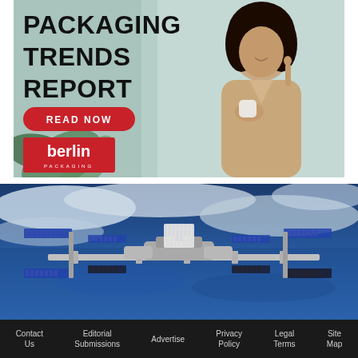[Figure (photo): Advertisement banner for Berlin Packaging Trends Report showing a smiling woman in a beige robe holding a skincare jar, with green plant leaves in background, a red 'READ NOW' button, and the Berlin Packaging red logo.]
[Figure (photo): Photograph of the International Space Station (ISS) in orbit above Earth, with solar panels extended and Earth's blue surface and white clouds visible below.]
Contact Us   Editorial Submissions   Advertise   Privacy Policy   Legal Terms   Site Map